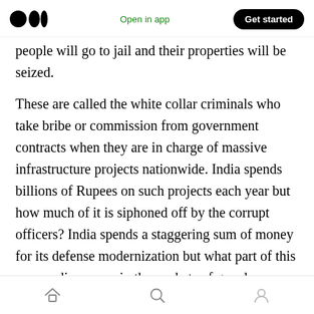Medium logo | Open in app | Get started
people will go to jail and their properties will be seized.
These are called the white collar criminals who take bribe or commission from government contracts when they are in charge of massive infrastructure projects nationwide. India spends billions of Rupees on such projects each year but how much of it is siphoned off by the corrupt officers? India spends a staggering sum of money for its defense modernization but what part of this money disappears in the pockets of greedy people?
Home | Search | Profile